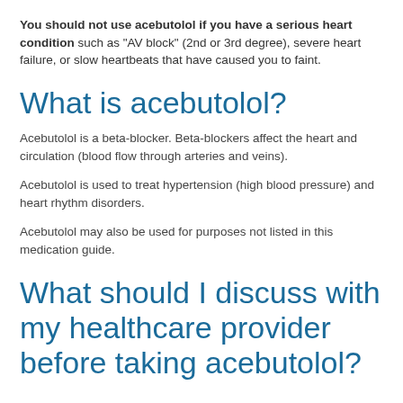You should not use acebutolol if you have a serious heart condition such as "AV block" (2nd or 3rd degree), severe heart failure, or slow heartbeats that have caused you to faint.
What is acebutolol?
Acebutolol is a beta-blocker. Beta-blockers affect the heart and circulation (blood flow through arteries and veins).
Acebutolol is used to treat hypertension (high blood pressure) and heart rhythm disorders.
Acebutolol may also be used for purposes not listed in this medication guide.
What should I discuss with my healthcare provider before taking acebutolol?